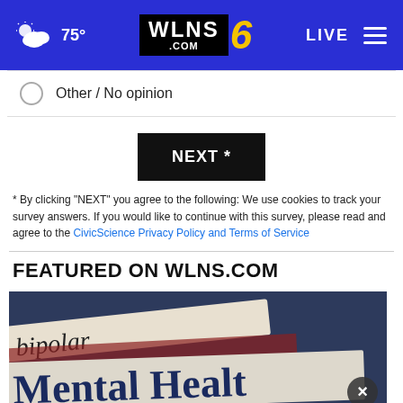75° WLNS.COM 6 LIVE
Other / No opinion
NEXT *
* By clicking "NEXT" you agree to the following: We use cookies to track your survey answers. If you would like to continue with this survey, please read and agree to the CivicScience Privacy Policy and Terms of Service
FEATURED ON WLNS.COM
[Figure (photo): Photo showing text 'bipolar' on a paper strip and 'Mental Health' text below, with an advertisement overlay reading 'Adopt a teen. You can't imagine the reward.' with AdoptUSKids and HHS logos]